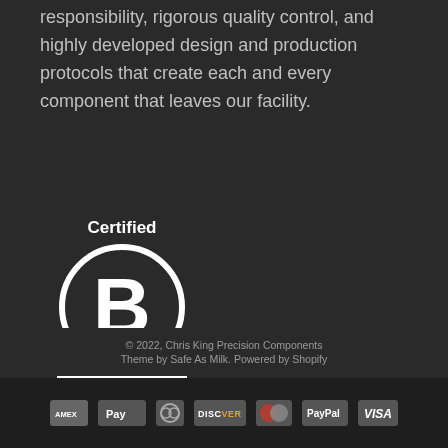to manufacturing, including: proactive social, environmental responsibility, rigorous quality control, and highly developed design and production protocols that create each and every component that leaves our facility.
[Figure (logo): Certified B Corporation logo: white circle with letter B inside, horizontal line below, text 'Certified' above and 'Corporation' below]
© 2022, Chris King Precision Components
Theme by Safe As Milk. Powered by Shopify
[Figure (infographic): Payment method icons in a dark bar: American Express, Apple Pay, Diners Club, Discover, MasterCard, PayPal, Visa]